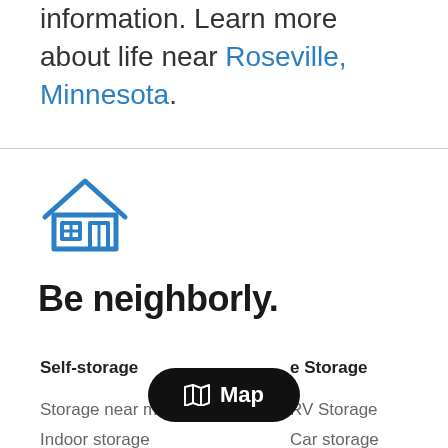information. Learn more about life near Roseville, Minnesota.
[Figure (illustration): Blue house icon with windows and roof outline]
Be neighborly.
Self-storage
e Storage
Storage near me
RV Storage
Indoor storage
Car storage